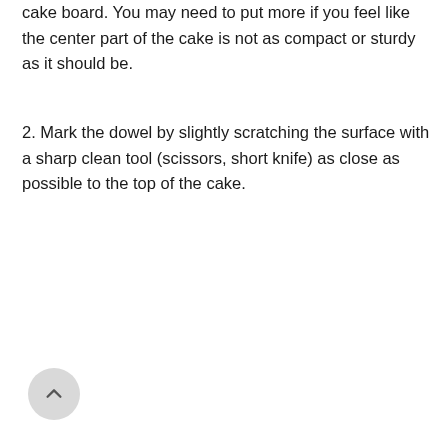cake board. You may need to put more if you feel like the center part of the cake is not as compact or sturdy as it should be.
2. Mark the dowel by slightly scratching the surface with a sharp clean tool (scissors, short knife) as close as possible to the top of the cake.
[Figure (other): A circular back-to-top button with an upward-pointing chevron arrow, light grey background.]